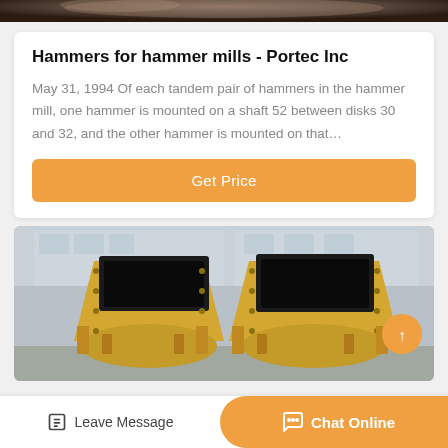[Figure (photo): Top portion of a dark industrial machine, cropped, showing the top edge at the top of the page]
Hammers for hammer mills - Portec Inc
May 31, 1994 Of each tandem pair of hammers in the hammer mill, one hammer is mounted on a shaft 52 between disks 30 and 32, and the other hammer is mounted on that…
[Figure (photo): Two large yellow hammer mill machines side by side, with open black rectangular feed openings at the top, photographed outdoors against a building background]
Leave Message
Chat Online